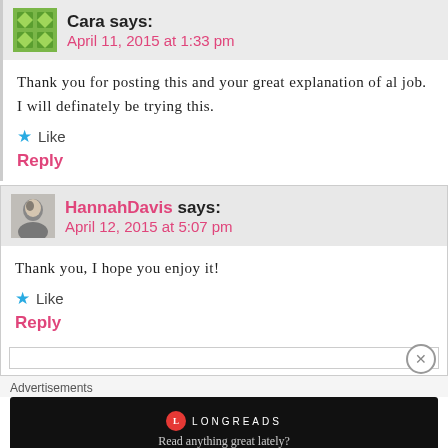Cara says: April 11, 2015 at 1:33 pm
Thank you for posting this and your great explanation of al job. I will definately be trying this.
★ Like
Reply
HannahDavis says: April 12, 2015 at 5:07 pm
Thank you, I hope you enjoy it!
★ Like
Reply
Advertisements
[Figure (other): Longreads advertisement banner with logo and tagline 'Read anything great lately?']